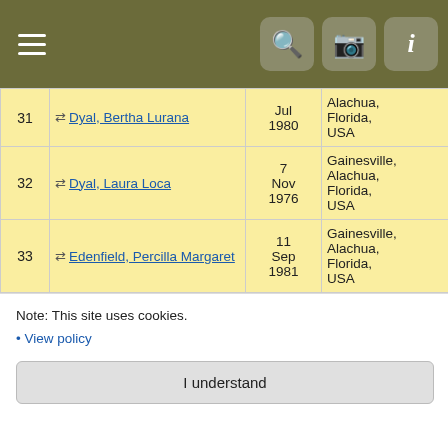| # | Name | Date | Place | ID |
| --- | --- | --- | --- | --- |
| 31 | Dyal, Bertha Lurana | Jul 1980 | Alachua, Florida, USA | I23072 |
| 32 | Dyal, Laura Loca | 7 Nov 1976 | Gainesville, Alachua, Florida, USA | I9348 |
| 33 | Edenfield, Percilla Margaret | 11 Sep 1981 | Gainesville, Alachua, Florida, USA | I41907 |
| 34 | Fassett, Kara Lynn | 15 Oct 1975 | Gainesville, Alachua, Florida, USA | I41329 |
| 35 | Fleming, Jean Frances | 27 Nov 2003 | Gainesville, Alachua, Florida, USA | I35686 |
Note: This site uses cookies.
• View policy
I understand